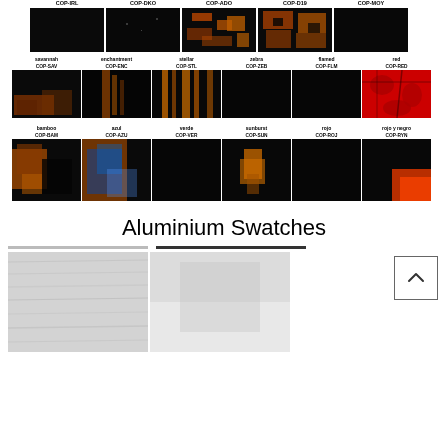[Figure (illustration): Row of 5 dark/orange texture swatches with labels: COP-IRL, COP-DKO, COP-ADO, COP-D19, COP-MOY]
[Figure (illustration): Row of 6 texture swatches labeled: savannah COP-SAV, enchantment COP-ENC, stellar COP-STL, zebra COP-ZEB, flamed COP-FLM, red COP-RED]
[Figure (illustration): Row of 6 texture swatches labeled: bamboo COP-BAM, azul COP-AZU, verde COP-VER, sunburst COP-SUN, rojo COP-ROJ, rojo y negro COP-RYN]
Aluminium Swatches
[Figure (illustration): Bottom row of aluminium texture swatches with tab navigation bar and back-to-top button]